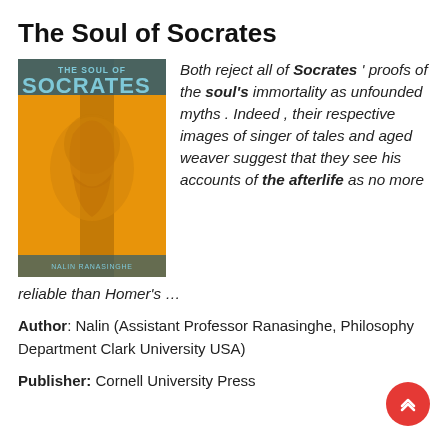The Soul of Socrates
[Figure (photo): Book cover of 'The Soul of Socrates' by Nalin Ranasinghe. Orange cover with a faint classical portrait image. Text reads 'THE SOUL OF SOCRATES' at top and 'NALIN RANASINGHE' at bottom.]
Both reject all of Socrates ' proofs of the soul's immortality as unfounded myths . Indeed , their respective images of singer of tales and aged weaver suggest that they see his accounts of the afterlife as no more reliable than Homer's …
Author: Nalin (Assistant Professor Ranasinghe, Philosophy Department Clark University USA)
Publisher: Cornell University Press